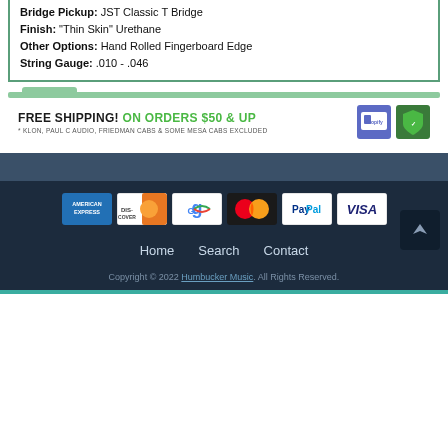Bridge Pickup: JST Classic T Bridge
Finish: "Thin Skin" Urethane
Other Options: Hand Rolled Fingerboard Edge
String Gauge: .010 - .046
[Figure (infographic): Free Shipping banner: FREE SHIPPING! ON ORDERS $50 & UP with Shopify secure badge icons]
[Figure (infographic): Payment method logos: American Express, Discover, Google, MasterCard, PayPal, Visa]
Home  Search  Contact
Copyright © 2022 Humbucker Music. All Rights Reserved.